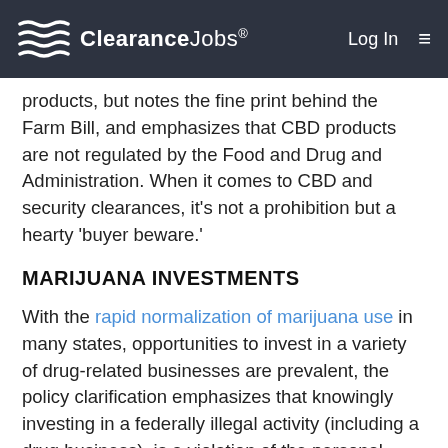ClearanceJobs® Log In ☰
products, but notes the fine print behind the Farm Bill, and emphasizes that CBD products are not regulated by the Food and Drug and Administration. When it comes to CBD and security clearances, it's not a prohibition but a hearty 'buyer beware.'
MARIJUANA INVESTMENTS
With the rapid normalization of marijuana use in many states, opportunities to invest in a variety of drug-related businesses are prevalent, the policy clarification emphasizes that knowingly investing in a federally illegal activity (including a drug business), is a violation of the personal conduct adjudicative